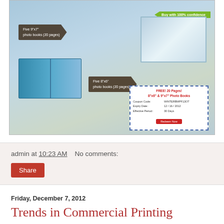[Figure (photo): Promotional banner for photo books showing winter/snow themed family photos, photo books display, open photo book, and a coupon box. Labels indicate 'Five 9"x7" photo books (20 pages)' and 'Five 8"x6" photo books (20 pages)'. Green ribbon says 'Buy with 100% confidence'. Coupon details: FREE 20 Pages 8x6 & 9x7 Photo Books, Coupon Code: WINTERBMPF13OT, Expiry Date: 12/16/2012, Effective Period: 30 Days.]
admin at 10:23 AM    No comments:
Share
Friday, December 7, 2012
Trends in Commercial Printing